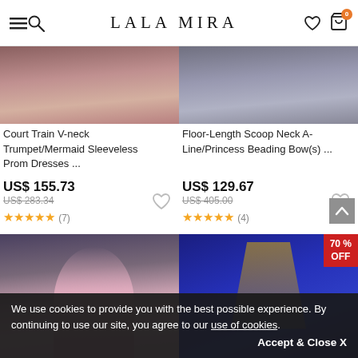LALA MIRA
[Figure (photo): Partial view of a woman in a dark red/maroon gown – Court Train V-neck Trumpet/Mermaid Sleeveless Prom Dress]
Court Train V-neck Trumpet/Mermaid Sleeveless Prom Dresses ...
US$ 155.73
US$ 283.34
★★★★★ (7)
[Figure (photo): Partial view of a woman in a grey/silver gown – Floor-Length Scoop Neck A-Line/Princess Beading Bow(s) ...]
Floor-Length Scoop Neck A-Line/Princess Beading Bow(s) ...
US$ 129.67
US$ 405.00
★★★★★ (4)
[Figure (photo): Woman in pink off-shoulder lace prom dress walking with man in dark suit]
[Figure (photo): Royal blue mermaid gown with gold appliques, shown front and back, 70% OFF badge]
We use cookies to provide you with the best possible experience. By continuing to use our site, you agree to our use of cookies.
Accept & Close X